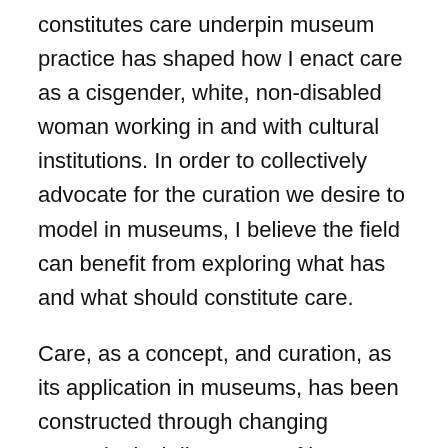constitutes care underpin museum practice has shaped how I enact care as a cisgender, white, non-disabled woman working in and with cultural institutions. In order to collectively advocate for the curation we desire to model in museums, I believe the field can benefit from exploring what has and what should constitute care.
Care, as a concept, and curation, as its application in museums, has been constructed through changing museological discourses of how museums should relate to people. For this reason, it is important to look at the history of the Curator's relationship with museum “Engagement” work. Engagement is a term commonly used in museums and cultural institutions to describe any labor related to building relationships between institutions and people. The changing relationship of curation to the labor of engagement in museums can be charted through three